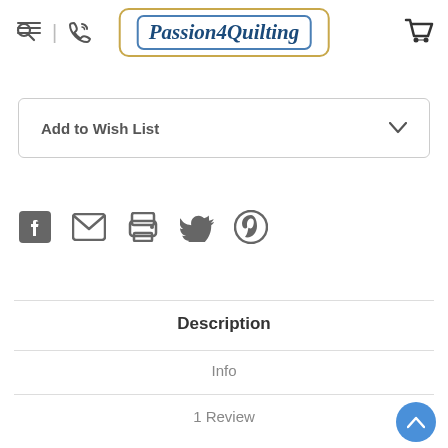[Figure (logo): Passion4Quilting logo in italic serif font inside a rounded rectangle with gold outer border and blue inner border]
Add to Wish List
[Figure (infographic): Social sharing icons: Facebook, Email, Print, Twitter, Pinterest]
Description
Info
1 Review